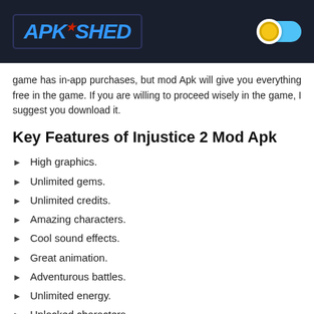APK SHED
game has in-app purchases, but mod Apk will give you everything free in the game. If you are willing to proceed wisely in the game, I suggest you download it.
Key Features of Injustice 2 Mod Apk
High graphics.
Unlimited gems.
Unlimited credits.
Amazing characters.
Cool sound effects.
Great animation.
Adventurous battles.
Unlimited energy.
Unlocked characters.